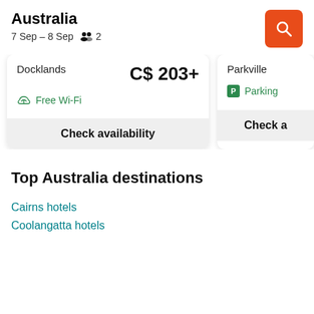Australia
7 Sep – 8 Sep   👥 2
Docklands   C$ 203+
Free Wi-Fi
Check availability
Parkville
Parking
Check a
Top Australia destinations
Cairns hotels
Coolangatta hotels